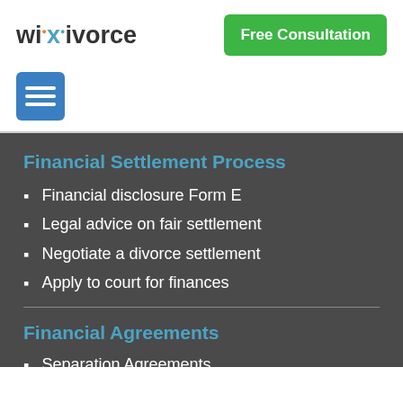[Figure (logo): Wikivorce logo with orange and blue dots]
Free Consultation
[Figure (other): Hamburger menu icon in blue square]
Financial Settlement Process
Financial disclosure Form E
Legal advice on fair settlement
Negotiate a divorce settlement
Apply to court for finances
Financial Agreements
Separation Agreements